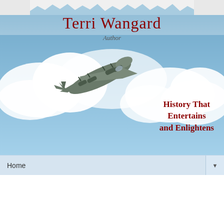[Figure (photo): Website banner for Terri Wangard author blog, featuring a blue sky with clouds background and a WWII-era B-17 bomber aircraft flying. Text reads 'Terri Wangard', 'Author', and 'History That Entertains and Enlightens'.]
Home ▼
Wednesday, April 20, 2016
The Difficult Teen Years of Audrey Hepburn